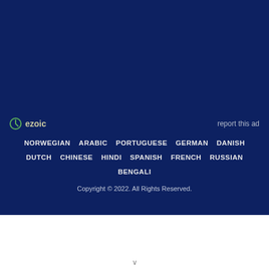[Figure (logo): Ezoic logo with circular green icon and 'ezoic' text, alongside 'report this ad' link, on dark blue background]
NORWEGIAN   ARABIC   PORTUGUESE   GERMAN   DANISH
DUTCH   CHINESE   HINDI   SPANISH   FRENCH   RUSSIAN
BENGALI
Copyright © 2022. All Rights Reserved.